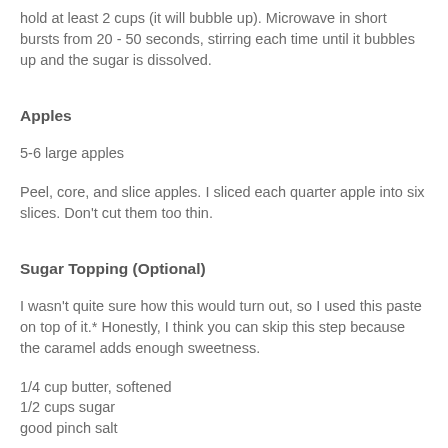hold at least 2 cups (it will bubble up). Microwave in short bursts from 20 - 50 seconds, stirring each time until it bubbles up and the sugar is dissolved.
Apples
5-6 large apples
Peel, core, and slice apples. I sliced each quarter apple into six slices. Don't cut them too thin.
Sugar Topping (Optional)
I wasn't quite sure how this would turn out, so I used this paste on top of it.* Honestly, I think you can skip this step because the caramel adds enough sweetness.
1/4 cup butter, softened
1/2 cups sugar
good pinch salt